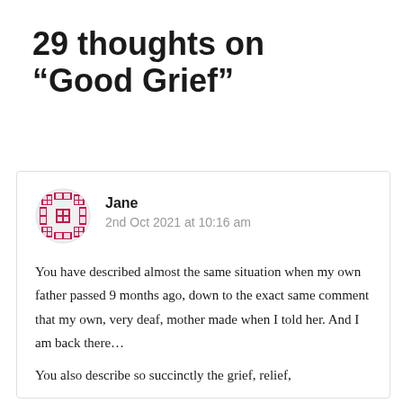29 thoughts on “Good Grief”
Jane
2nd Oct 2021 at 10:16 am

You have described almost the same situation when my own father passed 9 months ago, down to the exact same comment that my own, very deaf, mother made when I told her. And I am back there…

You also describe so succinctly the grief, relief,